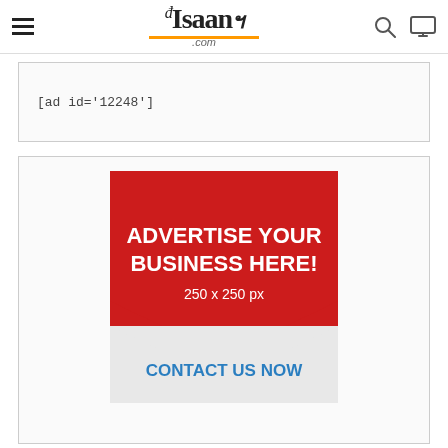Isaan.com
[ad id='12248']
[Figure (infographic): Advertise Your Business Here! 250 x 250 px banner with red chevron top and grey chevron bottom, CONTACT US NOW in blue text]